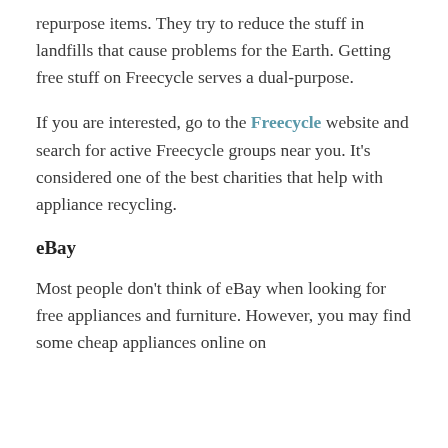repurpose items. They try to reduce the stuff in landfills that cause problems for the Earth. Getting free stuff on Freecycle serves a dual-purpose.
If you are interested, go to the Freecycle website and search for active Freecycle groups near you. It's considered one of the best charities that help with appliance recycling.
eBay
Most people don't think of eBay when looking for free appliances and furniture. However, you may find some cheap appliances online on